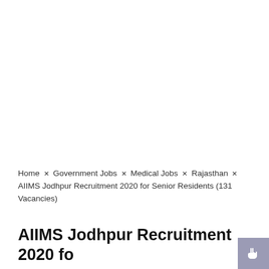Home × Government Jobs × Medical Jobs × Rajasthan × AIIMS Jodhpur Recruitment 2020 for Senior Residents (131 Vacancies)
AIIMS Jodhpur Recruitment 2020 for